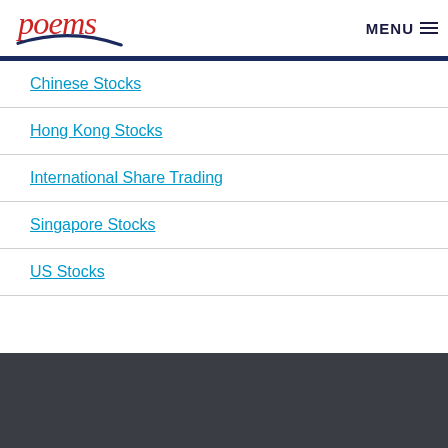poems | MENU
Chinese Stocks
Hong Kong Stocks
International Share Trading
Singapore Stocks
US Stocks